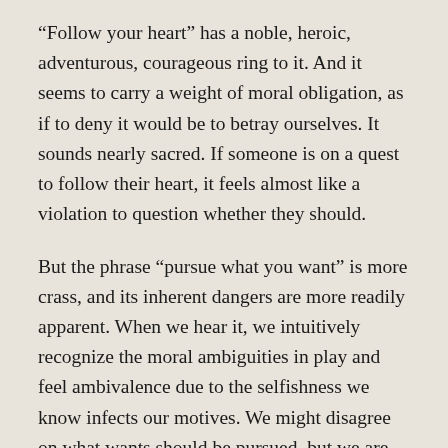“Follow your heart” has a noble, heroic, adventurous, courageous ring to it. And it seems to carry a weight of moral obligation, as if to deny it would be to betray ourselves. It sounds nearly sacred. If someone is on a quest to follow their heart, it feels almost like a violation to question whether they should.
But the phrase “pursue what you want” is more crass, and its inherent dangers are more readily apparent. When we hear it, we intuitively recognize the moral ambiguities in play and feel ambivalence due to the selfishness we know infects our motives. We might disagree on what wants should be pursued, but we are all agreed that not all wants